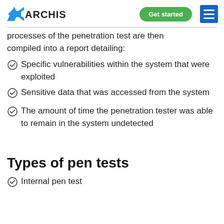ARCHISYS | Get started | [menu]
processes of the penetration test are then compiled into a report detailing:
Specific vulnerabilities within the system that were exploited
Sensitive data that was accessed from the system
The amount of time the penetration tester was able to remain in the system undetected
Types of pen tests
Internal pen test